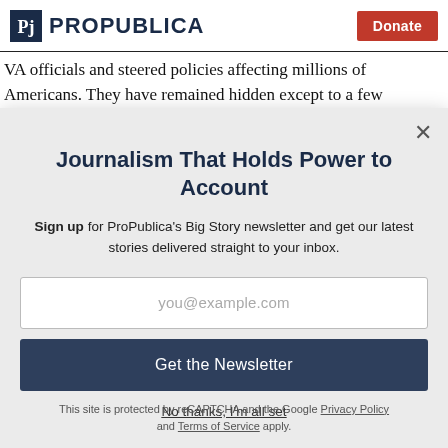ProPublica | Donate
VA officials and steered policies affecting millions of Americans. They have remained hidden except to a few
Journalism That Holds Power to Account
Sign up for ProPublica's Big Story newsletter and get our latest stories delivered straight to your inbox.
you@example.com
Get the Newsletter
No thanks, I'm all set
This site is protected by reCAPTCHA and the Google Privacy Policy and Terms of Service apply.